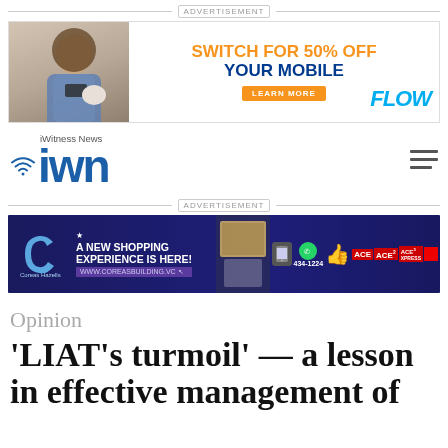ADVERTISEMENT
[Figure (photo): Flow mobile carrier advertisement: 'Switch for 50% off your mobile' with Learn More button and woman holding phone]
[Figure (logo): iWitness News (iWN) logo with wifi icon]
ADVERTISEMENT
[Figure (photo): Coreas Building advertisement: 'A New Shopping Experience is Here!' with website www.coreasbuilding.vc and phone 434-1224, ACE hardware logos]
Opinion
'LIAT's turmoil' — a lesson in effective management of